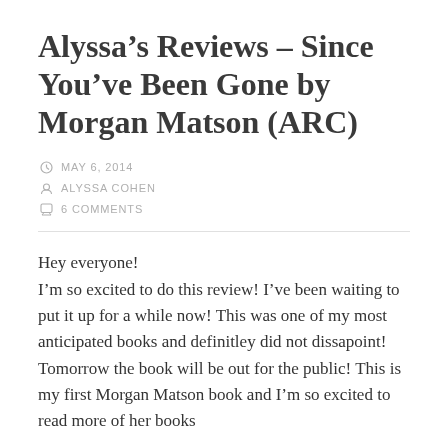Alyssa’s Reviews – Since You’ve Been Gone by Morgan Matson (ARC)
MAY 6, 2014
ALYSSA COHEN
6 COMMENTS
Hey everyone!
I’m so excited to do this review! I’ve been waiting to put it up for a while now! This was one of my most anticipated books and definitley did not dissapoint! Tomorrow the book will be out for the public! This is my first Morgan Matson book and I’m so excited to read more of her books